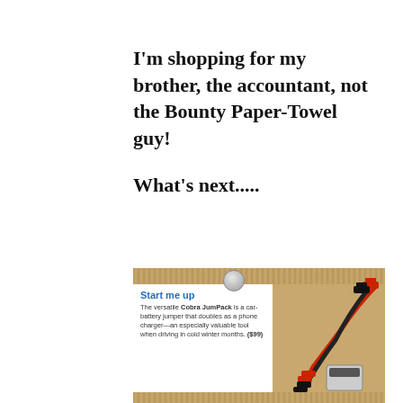I'm shopping for my brother, the accountant, not the Bounty Paper-Towel guy!
What's next.....
[Figure (photo): A magazine clipping pinned to a cork board showing a Cobra JumPack car-battery jumper with jumper cables. The article headline reads 'Start me up' and describes the Cobra JumPack as a car-battery jumper that doubles as a phone charger, priced at $99.]